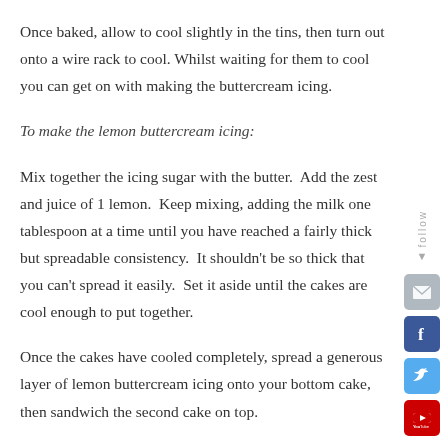Once baked, allow to cool slightly in the tins, then turn out onto a wire rack to cool. Whilst waiting for them to cool you can get on with making the buttercream icing.
To make the lemon buttercream icing:
Mix together the icing sugar with the butter.  Add the zest and juice of 1 lemon.  Keep mixing, adding the milk one tablespoon at a time until you have reached a fairly thick but spreadable consistency.  It shouldn’t be so thick that you can’t spread it easily.  Set it aside until the cakes are cool enough to put together.
Once the cakes have cooled completely, spread a generous layer of lemon buttercream icing onto your bottom cake, then sandwich the second cake on top.
[Figure (infographic): Social media follow sidebar with email, Facebook, Twitter, and YouTube icons arranged vertically on the right side, with a 'follow' label rotated vertically]